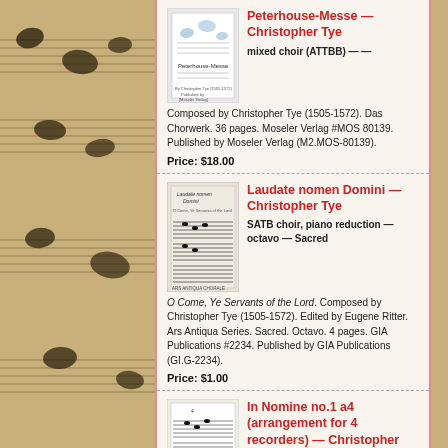[Figure (other): Sheet music background with handwritten musical notation on aged paper, flanking the content panel on both sides]
Peterhouse-Messe — Christopher Tye
mixed choir (ATTBB) — —
Composed by Christopher Tye (1505-1572). Das Chorwerk. 36 pages. Moseler Verlag #MOS 80139. Published by Moseler Verlag (M2.MOS-80139).
Price: $18.00
Laudate nomen Domini — Christopher Tye
SATB choir, piano reduction — octavo — Sacred
O Come, Ye Servants of the Lord. Composed by Christopher Tye (1505-1572). Edited by Eugene Ritter. Ars Antiqua Series. Sacred. Octavo. 4 pages. GIA Publications #2234. Published by GIA Publications (GI.G-2234).
Price: $1.00
In Nomine no.1 a4 (arrangement for 4 recorders) — Christopher